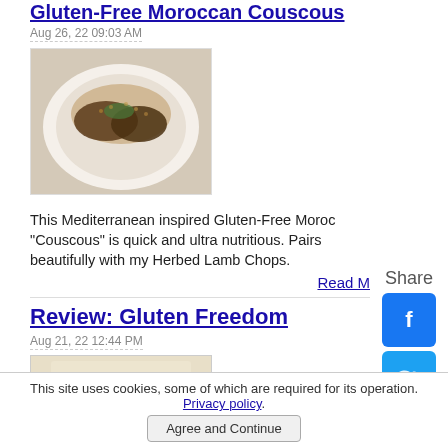Gluten-Free Moroccan Couscous
Aug 26, 22 09:03 AM
[Figure (photo): A white plate with Moroccan couscous and herbed lamb chops]
This Mediterranean inspired Gluten-Free Moroccan "Couscous" is quick and ultra nutritious. Pairs beautifully with my Herbed Lamb Chops.
Read M...
Review: Gluten Freedom
Aug 21, 22 12:44 PM
[Figure (photo): Book cover for Gluten Freedom - The Nation's Leading Expert Offers the Essential Guide to a Healthy, Gluten-Free Lifestyle]
Share
[Figure (logo): Facebook share button icon]
[Figure (logo): Twitter share button icon]
[Figure (logo): Messenger share button icon]
[Figure (logo): Pinterest share button icon]
This site uses cookies, some of which are required for its operation. Privacy policy.
Agree and Continue